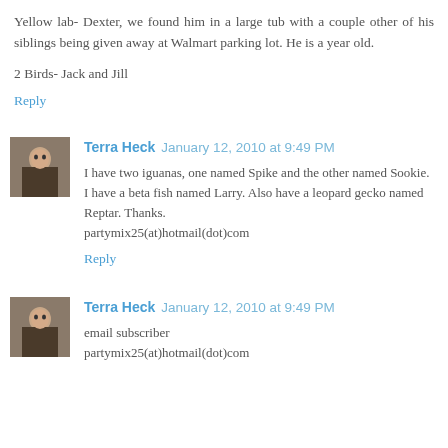Yellow lab- Dexter, we found him in a large tub with a couple other of his siblings being given away at Walmart parking lot. He is a year old.
2 Birds- Jack and Jill
Reply
Terra Heck  January 12, 2010 at 9:49 PM
I have two iguanas, one named Spike and the other named Sookie. I have a beta fish named Larry. Also have a leopard gecko named Reptar. Thanks. partymix25(at)hotmail(dot)com
Reply
Terra Heck  January 12, 2010 at 9:49 PM
email subscriber partymix25(at)hotmail(dot)com